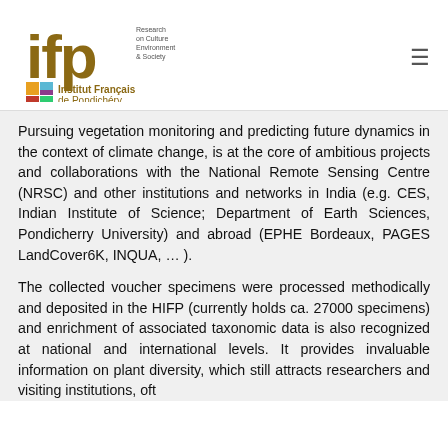[Figure (logo): Institut Français de Pondichéry logo with 'ifp' text in gold/brown and colorful squares, with tagline 'Research on Culture Environment & Society']
Pursuing vegetation monitoring and predicting future dynamics in the context of climate change, is at the core of ambitious projects and collaborations with the National Remote Sensing Centre (NRSC) and other institutions and networks in India (e.g. CES, Indian Institute of Science; Department of Earth Sciences, Pondicherry University) and abroad (EPHE Bordeaux, PAGES LandCover6K, INQUA, … ).
The collected voucher specimens were processed methodically and deposited in the HIFP (currently holds ca. 27000 specimens) and enrichment of associated taxonomic data is also recognized at national and international levels. It provides invaluable information on plant diversity, which still attracts researchers and visiting institutions, often